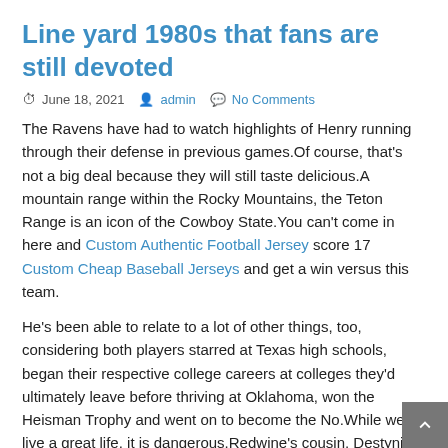Line yard 1980s that fans are still devoted
June 18, 2021   admin   No Comments
The Ravens have had to watch highlights of Henry running through their defense in previous games.Of course, that's not a big deal because they will still taste delicious.A mountain range within the Rocky Mountains, the Teton Range is an icon of the Cowboy State.You can't come in here and Custom Authentic Football Jersey score 17 Custom Cheap Baseball Jerseys and get a win versus this team.
He's been able to relate to a lot of other things, too, considering both players starred at Texas high schools, began their respective college careers at colleges they'd ultimately leave before thriving at Oklahoma, won the Heisman Trophy and went on to become the No.While we live a great life, it is dangerous.Redwine's cousin, Destyni Scott, and their family affected daily by multiple sclerosis.Albert's done well. Fangi